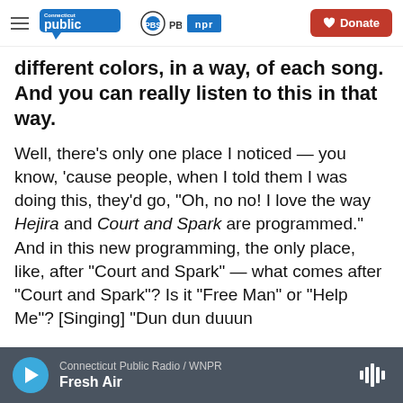Connecticut Public | PBS | NPR | Donate
different colors, in a way, of each song. And you can really listen to this in that way.
Well, there's only one place I noticed — you know, 'cause people, when I told them I was doing this, they'd go, "Oh, no no! I love the way Hejira and Court and Spark are programmed." And in this new programming, the only place, like, after "Court and Spark" — what comes after "Court and Spark"? Is it "Free Man" or "Help Me"? [Singing] "Dun dun duuun
Connecticut Public Radio / WNPR | Fresh Air